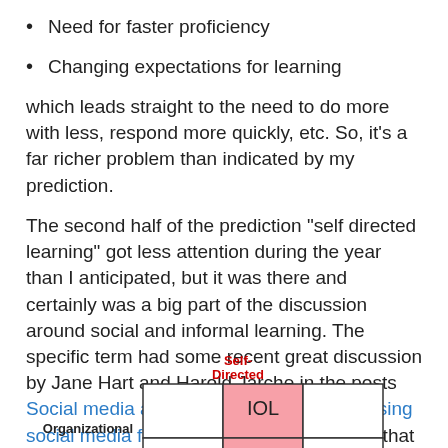Need for faster proficiency
Changing expectations for learning
which leads straight to the need to do more with less, respond more quickly, etc. So, it's a far richer problem than indicated by my prediction.
The second half of the prediction “self directed learning” got less attention during the year than I anticipated, but it was there and certainly was a big part of the discussion around social and informal learning. The specific term had some recent great discussion by Jane Hart and Harold Jarche in the posts Social media and self-directed learning, Using social media for different types of learning that included the following diagram:
[Figure (other): A 2x2 grid diagram with axes Self-Directed (top) and Organizational (left), with a pink highlighted cell labeled IOL in the top-center cell of the grid.]